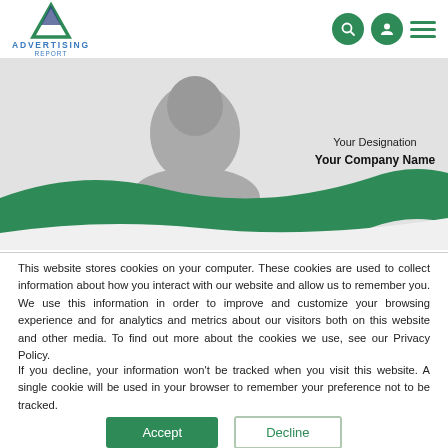ADVERTISING REPORT
[Figure (illustration): Banner showing a silhouette of a person with text 'Your Designation' and 'Your Company Name' on a grey background with green wave decoration]
This website stores cookies on your computer. These cookies are used to collect information about how you interact with our website and allow us to remember you. We use this information in order to improve and customize your browsing experience and for analytics and metrics about our visitors both on this website and other media. To find out more about the cookies we use, see our Privacy Policy.
If you decline, your information won't be tracked when you visit this website. A single cookie will be used in your browser to remember your preference not to be tracked.
Accept   Decline